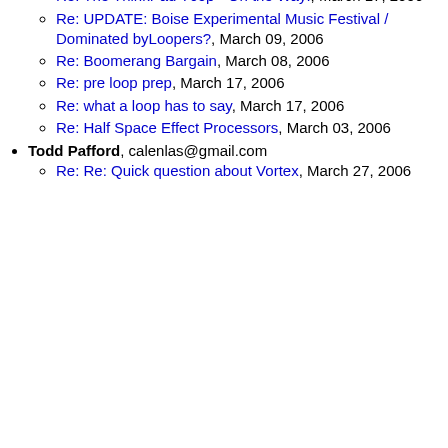many stupid questions, March 28, 2006
Re: The ThinkPad T60p - On the Way!, March 17, 2006
Re: UPDATE: Boise Experimental Music Festival / Dominated byLoopers?, March 09, 2006
Re: Boomerang Bargain, March 08, 2006
Re: pre loop prep, March 17, 2006
Re: what a loop has to say, March 17, 2006
Re: Half Space Effect Processors, March 03, 2006
Todd Pafford, calenlas@gmail.com
Re: Re: Quick question about Vortex, March 27, 2006